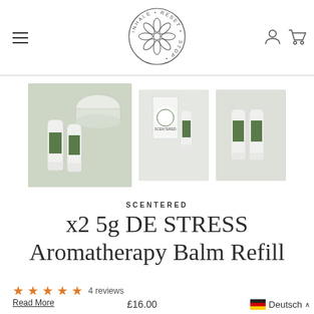Stop Inhale Reset — navigation header with logo, hamburger menu, account and cart icons
[Figure (photo): Three product images showing Scentered DE STRESS Aromatherapy Balm sticks — a main large image on left showing two green-labeled balm sticks next to a white lid container, a center thumbnail showing the product packaging box with two balm sticks, and a right thumbnail showing two balm sticks side by side]
SCENTERED
x2 5g DE STRESS Aromatherapy Balm Refill
★★★★☆ 4 reviews
Read More
£16.00
Deutsch